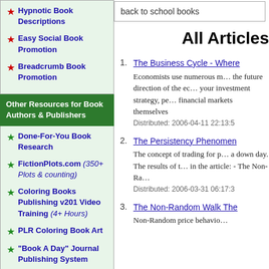Hypnotic Book Descriptions
Easy Social Book Promotion
Breadcrumb Book Promotion
Other Resources for Book Authors & Publishers
Done-For-You Book Research
FictionPlots.com (350+ Plots & counting)
Coloring Books Publishing v201 Video Training (4+ Hours)
PLR Coloring Book Art
"Book A Day" Journal Publishing System
Please Support Our Advertisers
back to school books
All Articles
The Business Cycle - Where... Economists use numerous m... the future direction of the ec... your investment strategy, pe... financial markets themselves. Distributed: 2006-04-11 22:13:5
The Persistency Phenomen... The concept of trading for p... a down day. The results of t... in the article: - The Non-Ra... Distributed: 2006-03-31 06:17:3
The Non-Random Walk The... Non-Random price behavio...